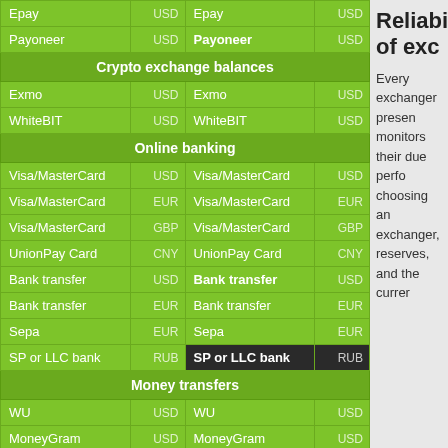| Epay | USD | Epay | USD |
| Payoneer | USD | Payoneer | USD |
| [section] Crypto exchange balances |  |  |  |
| Exmo | USD | Exmo | USD |
| WhiteBIT | USD | WhiteBIT | USD |
| [section] Online banking |  |  |  |
| Visa/MasterCard | USD | Visa/MasterCard | USD |
| Visa/MasterCard | EUR | Visa/MasterCard | EUR |
| Visa/MasterCard | GBP | Visa/MasterCard | GBP |
| UnionPay Card | CNY | UnionPay Card | CNY |
| Bank transfer | USD | Bank transfer | USD |
| Bank transfer | EUR | Bank transfer | EUR |
| Sepa | EUR | Sepa | EUR |
| SP or LLC bank | RUB | SP or LLC bank | RUB |
| [section] Money transfers |  |  |  |
| WU | USD | WU | USD |
| MoneyGram | USD | MoneyGram | USD |
| [section] Cash |  |  |  |
| Cash | USD | Cash | USD |
Reliability of exc
Every exchanger presen monitors their due perfo choosing an exchanger, reserves, and the currer